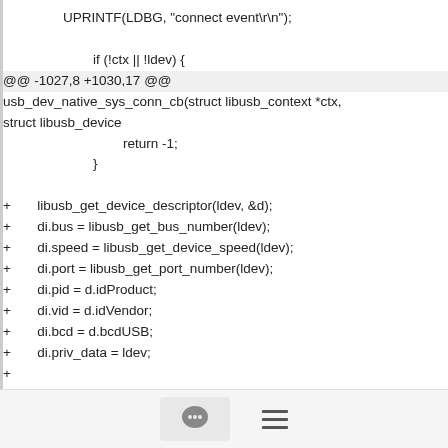UPRINTF(LDBG, "connect event\r\n");

        if (!ctx || !ldev) {
@@ -1027,8 +1030,17 @@
usb_dev_native_sys_conn_cb(struct libusb_context *ctx, struct libusb_device
                return -1;
        }

+       libusb_get_device_descriptor(ldev, &d);
+       di.bus = libusb_get_bus_number(ldev);
+       di.speed = libusb_get_device_speed(ldev);
+       di.port = libusb_get_port_number(ldev);
+       di.pid = d.idProduct;
+       di.vid = d.idVendor;
+       di.bcd = d.bcdUSB;
+       di.priv_data = ldev;
+
        if (g_ctx.conn_cb)
[Figure (other): Footer bar with chat bubble icon in a rounded box and a hamburger menu icon]